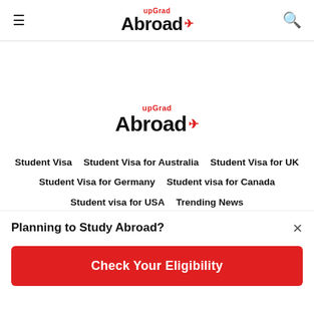upGrad Abroad
[Figure (logo): upGrad Abroad logo with red upGrad text above bold black Abroad with red airplane icon]
Student Visa
Student Visa for Australia
Student Visa for UK
Student Visa for Germany
Student visa for Canada
Student visa for USA
Trending News
Student Visa for Singapore
Student visa for New Zealand
IELTS Exam
Study Abroad for MASTERS Degree
Planning to Study Abroad?
Check Your Eligibility